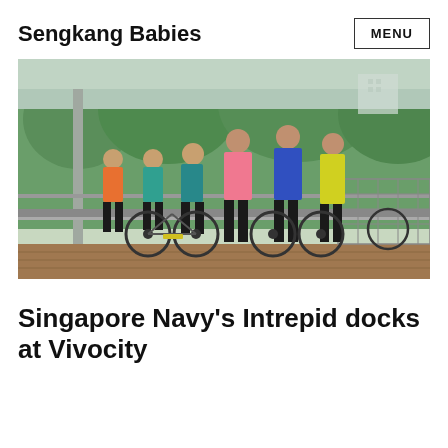Sengkang Babies
[Figure (photo): A family of six people posing with bicycles on a wooden boardwalk near a river, surrounded by greenery. They are wearing colorful sportswear.]
Singapore Navy's Intrepid docks at Vivocity